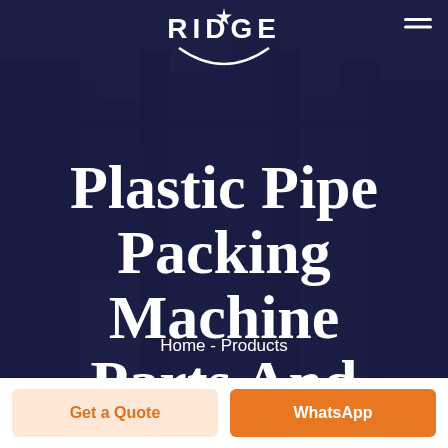[Figure (photo): Dark navy-overlaid industrial photo of plastic pipe packing machinery in a factory setting. A white logo reading RIDGE with a crescent arc and star is overlaid at the top center.]
Plastic Pipe Packing Machine Parts And Accessories
Home - Products
Get a Quote
WhatsApp